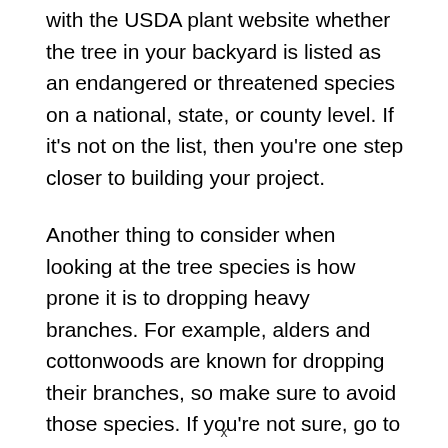with the USDA plant website whether the tree in your backyard is listed as an endangered or threatened species on a national, state, or county level. If it's not on the list, then you're one step closer to building your project.
Another thing to consider when looking at the tree species is how prone it is to dropping heavy branches. For example, alders and cottonwoods are known for dropping their branches, so make sure to avoid those species. If you're not sure, go to your local horticulture extension agent and ask for advice.
7. Potential Tree Damage